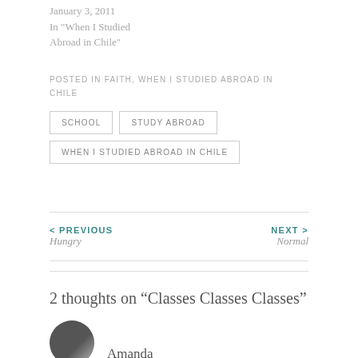January 3, 2011
In “When I Studied Abroad in Chile”
POSTED IN FAITH, WHEN I STUDIED ABROAD IN CHILE
SCHOOL
STUDY ABROAD
WHEN I STUDIED ABROAD IN CHILE
< PREVIOUS
Hungry
NEXT >
Normal
2 thoughts on “Classes Classes Classes”
Amanda